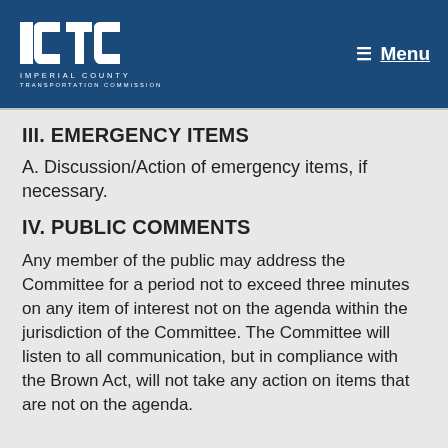ICTC IMPERIAL COUNTY TRANSPORTATION COMMISSION | Menu
III. EMERGENCY ITEMS
A. Discussion/Action of emergency items, if necessary.
IV. PUBLIC COMMENTS
Any member of the public may address the Committee for a period not to exceed three minutes on any item of interest not on the agenda within the jurisdiction of the Committee. The Committee will listen to all communication, but in compliance with the Brown Act, will not take any action on items that are not on the agenda.